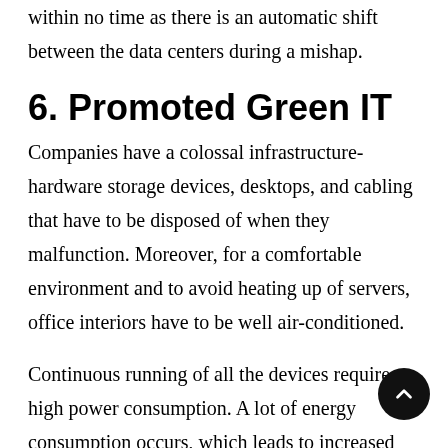within no time as there is an automatic shift between the data centers during a mishap.
6. Promoted Green IT
Companies have a colossal infrastructure-hardware storage devices, desktops, and cabling that have to be disposed of when they malfunction. Moreover, for a comfortable environment and to avoid heating up of servers, office interiors have to be well air-conditioned.
Continuous running of all the devices requires high power consumption. A lot of energy consumption occurs, which leads to increased carbon emissions.